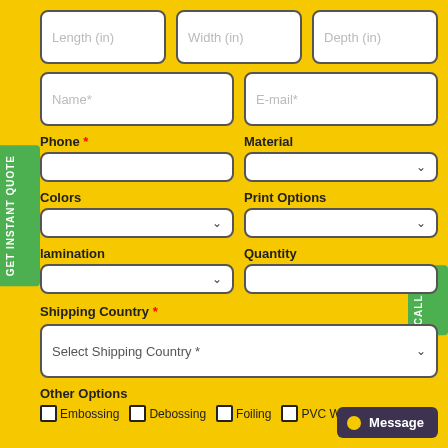[Figure (screenshot): Online quote request form with fields for Length, Width, Depth, Name, E-mail, Phone, Material, Colors, Print Options, lamination, Quantity, Shipping Country, Other Options (Embossing, Debossing, Foiling, PVC W...), side tabs for GET INSTANT QUOTE and CALL US, and a Message button.]